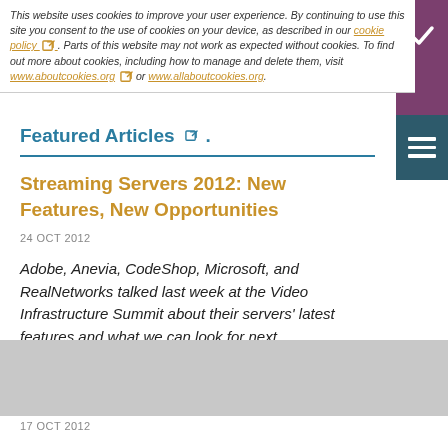This website uses cookies to improve your user experience. By continuing to use this site you consent to the use of cookies on your device, as described in our cookie policy. Parts of this website may not work as expected without cookies. To find out more about cookies, including how to manage and delete them, visit www.aboutcookies.org or www.allaboutcookies.org.
Featured Articles
Streaming Servers 2012: New Features, New Opportunities
24 OCT 2012
Adobe, Anevia, CodeShop, Microsoft, and RealNetworks talked last week at the Video Infrastructure Summit about their servers' latest features and what we can look for next
17 OCT 2012